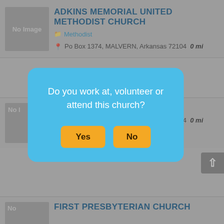ADKINS MEMORIAL UNITED METHODIST CHURCH
Methodist
Po Box 1374, MALVERN, Arkansas 72104  0 mi
Po Box 1374, MALVERN, Arkansas 72104  0 mi
501-337-7364
FIRST PRESBYTERIAN CHURCH
Do you work at, volunteer or attend this church?
Yes
No